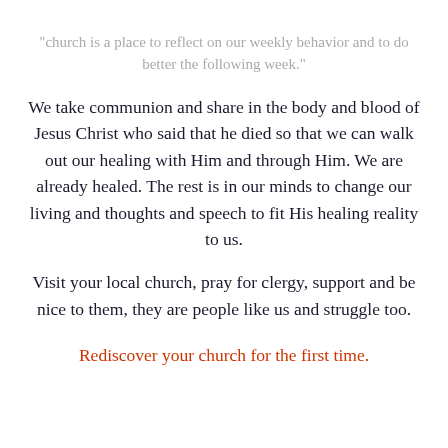"church is a place to reflect on our weekly behavior and to do better the following week."
We take communion and share in the body and blood of Jesus Christ who said that he died so that we can walk out our healing with Him and through Him. We are already healed. The rest is in our minds to change our living and thoughts and speech to fit His healing reality to us.
Visit your local church, pray for clergy, support and be nice to them, they are people like us and struggle too.
Rediscover your church for the first time.